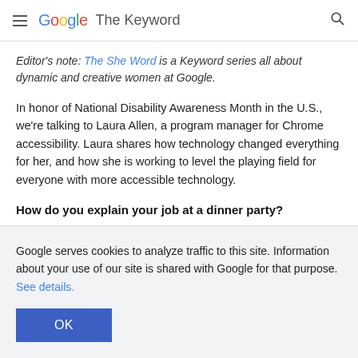≡ Google The Keyword 🔍
Editor's note: The She Word is a Keyword series all about dynamic and creative women at Google.
In honor of National Disability Awareness Month in the U.S., we're talking to Laura Allen, a program manager for Chrome accessibility. Laura shares how technology changed everything for her, and how she is working to level the playing field for everyone with more accessible technology.
How do you explain your job at a dinner party?
Google serves cookies to analyze traffic to this site. Information about your use of our site is shared with Google for that purpose.  See details.